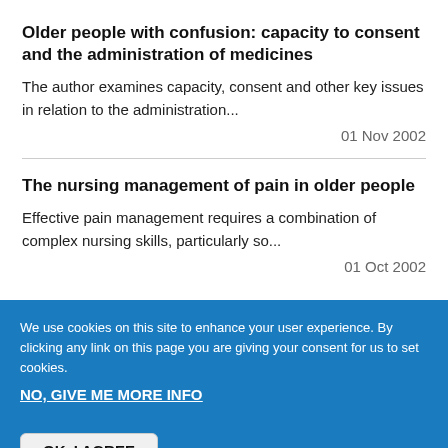Older people with confusion: capacity to consent and the administration of medicines
The author examines capacity, consent and other key issues in relation to the administration...
01 Nov 2002
The nursing management of pain in older people
Effective pain management requires a combination of complex nursing skills, particularly so...
01 Oct 2002
We use cookies on this site to enhance your user experience. By clicking any link on this page you are giving your consent for us to set cookies.
NO, GIVE ME MORE INFO
OK, I AGREE